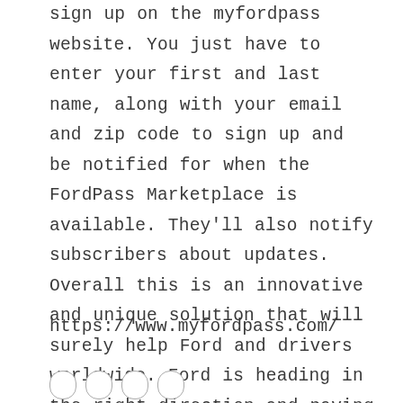sign up on the myfordpass website. You just have to enter your first and last name, along with your email and zip code to sign up and be notified for when the FordPass Marketplace is available. They'll also notify subscribers about updates. Overall this is an innovative and unique solution that will surely help Ford and drivers worldwide. Ford is heading in the right direction and paving the way for a tech-centered world.
https://www.myfordpass.com/